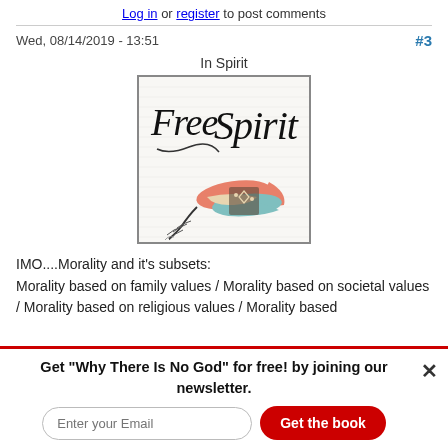Log in or register to post comments
Wed, 08/14/2019 - 13:51
#3
In Spirit
[Figure (illustration): Free Spirit logo with decorative feathers and script text reading 'Free Spirit']
IMO....Morality and it's subsets:
Morality based on family values / Morality based on societal values / Morality based on religious values / Morality based
Get "Why There Is No God" for free! by joining our newsletter.